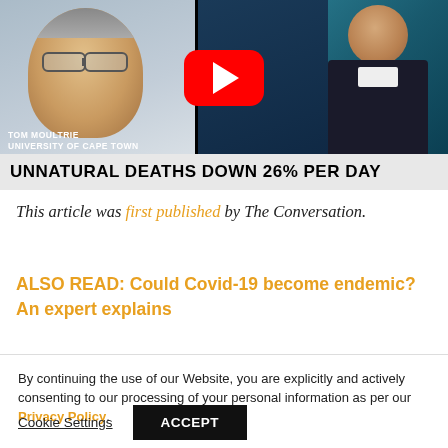[Figure (screenshot): Video thumbnail showing Tom Moultrie from University of Cape Town on the left, a female news anchor on the right, a YouTube play button in the center, and a headline bar reading 'UNNATURAL DEATHS DOWN 26% PER DAY']
This article was first published by The Conversation.
ALSO READ: Could Covid-19 become endemic? An expert explains
By continuing the use of our Website, you are explicitly and actively consenting to our processing of your personal information as per our Privacy Policy.
Cookie Settings   ACCEPT